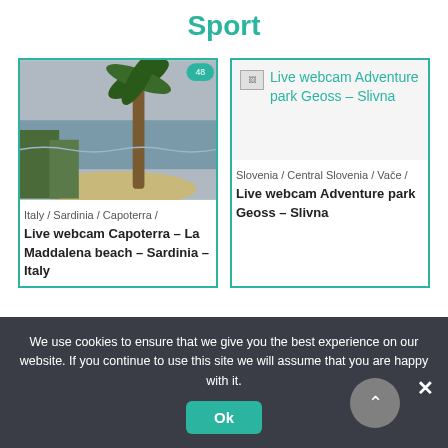Sport
[Figure (photo): Webcam photo of La Maddalena beach Capoterra Sardinia Italy showing palm tree and sea]
Italy / Sardinia / Capoterra /
Live webcam Capoterra – La Maddalena beach – Sardinia – Italy
[Figure (screenshot): Broken image icon for Live webcam Adventure park Geoss – Slivna]
Slovenia / Central Slovenia / Vače /
Live webcam Adventure park Geoss – Slivna
We use cookies to ensure that we give you the best experience on our website. If you continue to use this site we will assume that you are happy with it.